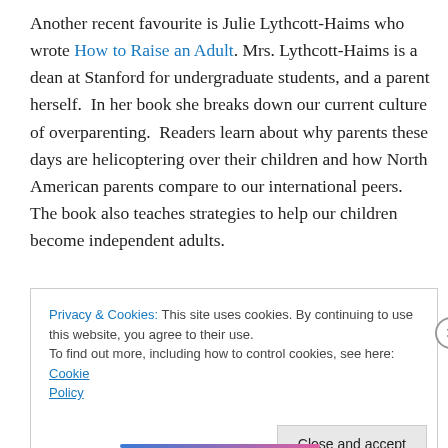Another recent favourite is Julie Lythcott-Haims who wrote How to Raise an Adult. Mrs. Lythcott-Haims is a dean at Stanford for undergraduate students, and a parent herself. In her book she breaks down our current culture of overparenting. Readers learn about why parents these days are helicoptering over their children and how North American parents compare to our international peers. The book also teaches strategies to help our children become independent adults.
Privacy & Cookies: This site uses cookies. By continuing to use this website, you agree to their use. To find out more, including how to control cookies, see here: Cookie Policy